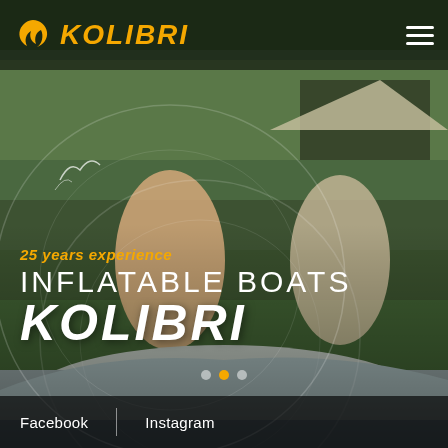[Figure (photo): Outdoor scene with two people (a smiling woman and a man with sunglasses) sitting in a Kolibri inflatable boat on water, with greenery and a gazebo in the background.]
KOLIBRI  ☰
25 years experience
INFLATABLE BOATS
KOLIBRI
Facebook  |  Instagram